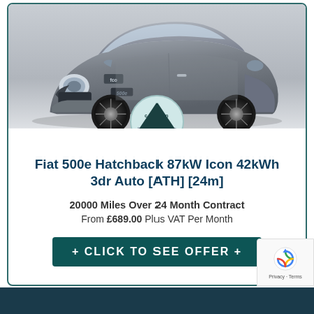[Figure (photo): Fiat 500e electric hatchback in grey/silver colour, front three-quarter view on white/grey background]
[Figure (logo): Cocoon Vehicles circular logo in teal/light blue]
Fiat 500e Hatchback 87kW Icon 42kWh 3dr Auto [ATH] [24m]
20000 Miles Over 24 Month Contract
From £689.00 Plus VAT Per Month
+ CLICK TO SEE OFFER +